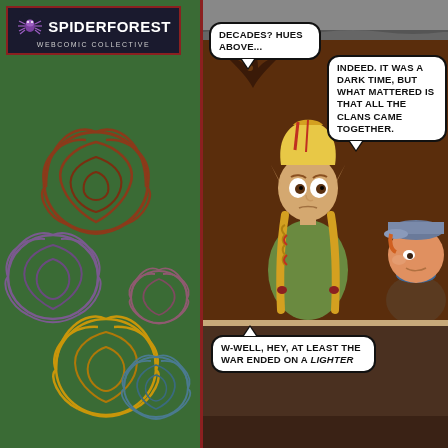[Figure (logo): SpiderForest Webcomic Collective logo — spider icon with text on dark background in a bordered box]
[Figure (illustration): Decorative roses illustration: large overlapping roses in red/brown, purple, yellow/gold, and blue tones on dark green background]
[Figure (illustration): Comic panel: elf-like character with long braided blonde hair looking worried, with speech bubbles. Top: 'DECADES? HUES ABOVE...' and 'INDEED. IT WAS A DARK TIME, BUT WHAT MATTERED IS THAT ALL THE CLANS CAME TOGETHER.' Bottom panel: 'W-WELL, HEY, AT LEAST THE WAR ENDED ON A LIGHTER']